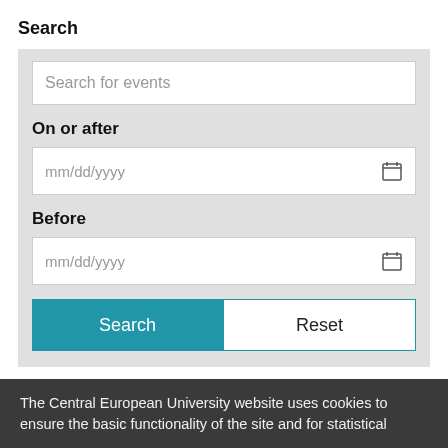Search
Search for events
On or after
mm/dd/yyyy
Before
mm/dd/yyyy
Search
Reset
MAY   Stephen Walt : “Being an
The Central European University website uses cookies to ensure the basic functionality of the site and for statistical